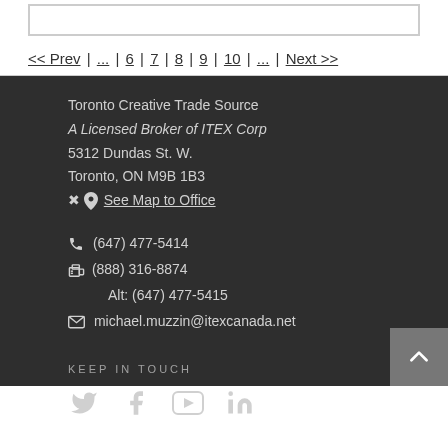<< Prev | ... | 6 | 7 | 8 | 9 | 10 | ... | Next >>
Toronto Creative Trade Source
A Licensed Broker of ITEX Corp
5312 Dundas St. W.
Toronto, ON M9B 1B3
❖ See Map to Office
☎ (647) 477-5414
ℇ(888) 316-8874
    Alt: (647) 477-5415
✉ michael.muzzin@itexcanada.net
KEEP IN TOUCH
[Figure (other): Social media icons: Twitter, Facebook, YouTube, LinkedIn]